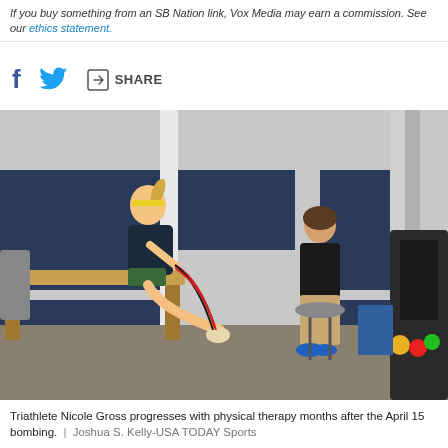If you buy something from an SB Nation link, Vox Media may earn a commission. See our ethics statement.
[Figure (other): Social media sharing bar with Facebook, Twitter icons and SHARE button]
[Figure (photo): Triathlete Nicole Gross sitting on a physical therapy table doing resistance band ankle exercises with a therapist in a sports rehabilitation facility.]
Triathlete Nicole Gross progresses with physical therapy months after the April 15 bombing.  |  Joshua S. Kelly-USA TODAY Sports